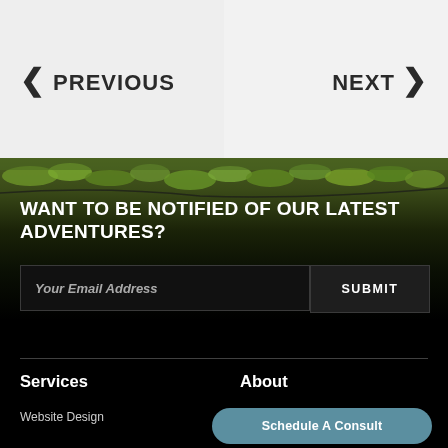< PREVIOUS
NEXT >
[Figure (photo): Moss-covered surface with dark background, nature/adventure theme]
WANT TO BE NOTIFIED OF OUR LATEST ADVENTURES?
Your Email Address
SUBMIT
Services
About
Website Design
A
Schedule A Consult